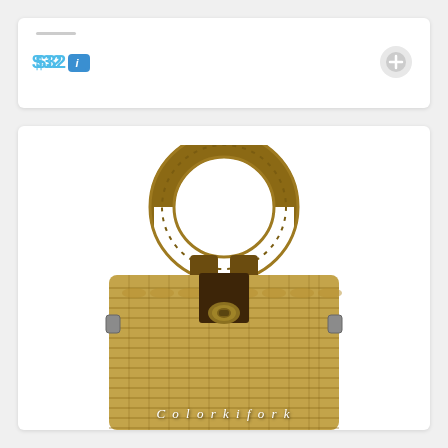$32 [i]
[Figure (photo): A wicker/rattan handbag with a rounded top handle, dark brown leather strap and closure, and a gold-tone turn-lock clasp. The bag is a warm tan/brown color with tightly woven rattan weave. A shoulder strap is visible on the left side. The bottom of the image contains a partially visible watermark text in white italic script.]